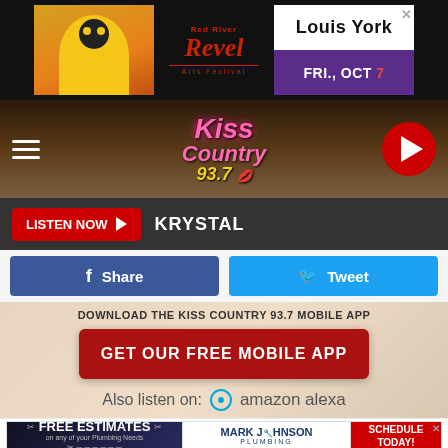[Figure (screenshot): Red River Revel Arts Festival advertisement banner with Louis York artist name and FRI., OCT 7 date on purple background]
[Figure (logo): Kiss Country 93.7 radio station logo with navigation bar, hamburger menu and play button]
LISTEN NOW KRYSTAL
Share
Tweet
DOWNLOAD THE KISS COUNTRY 93.7 MOBILE APP
GET OUR FREE MOBILE APP
Also listen on:  amazon alexa
[Figure (screenshot): Mark Johnson Plumbing advertisement with Free Estimates offer and Schedule Today button]